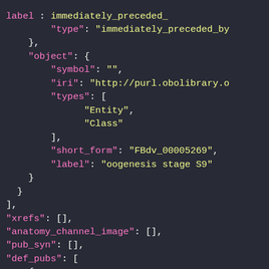[Figure (screenshot): A dark-themed code editor screenshot showing JSON data with syntax highlighting. Keys are in pink/magenta, string values in yellow, punctuation in white, on a dark navy background.]